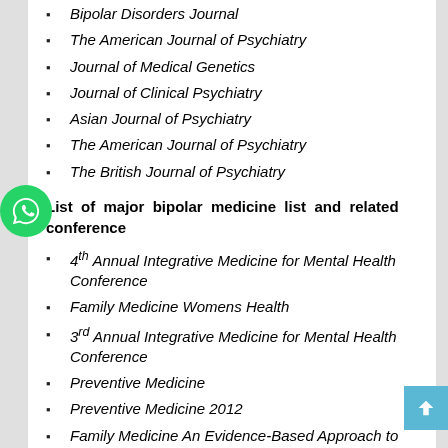Bipolar Disorders Journal
The American Journal of Psychiatry
Journal of Medical Genetics
Journal of Clinical Psychiatry
Asian Journal of Psychiatry
The American Journal of Psychiatry
The British Journal of Psychiatry
List of major bipolar medicine list and related conference
4th Annual Integrative Medicine for Mental Health Conference
Family Medicine Womens Health
3rd Annual Integrative Medicine for Mental Health Conference
Preventive Medicine
Preventive Medicine 2012
Family Medicine An Evidence-Based Approach to Patient Care
Psychopharmacology 2010